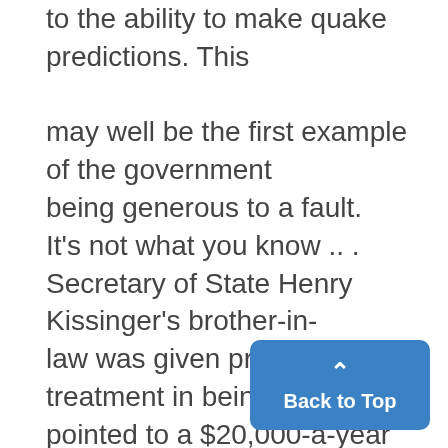to the ability to make quake predictions. This

may well be the first example of the government
being generous to a fault.
It's not what you know .. .
Secretary of State Henry Kissinger's brother-in-
law was given preferential treatment in being ap-
pointed to a $20,000-a-year government job, ac-
cording to a Civil Service Comm